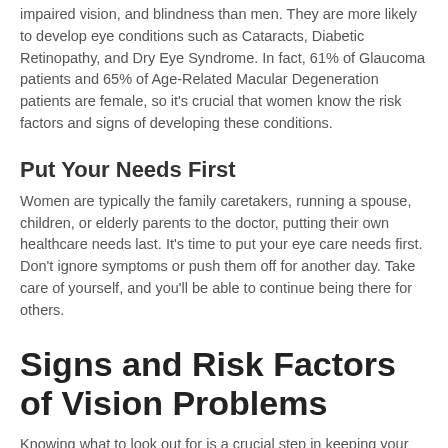impaired vision, and blindness than men. They are more likely to develop eye conditions such as Cataracts, Diabetic Retinopathy, and Dry Eye Syndrome. In fact, 61% of Glaucoma patients and 65% of Age-Related Macular Degeneration patients are female, so it's crucial that women know the risk factors and signs of developing these conditions.
Put Your Needs First
Women are typically the family caretakers, running a spouse, children, or elderly parents to the doctor, putting their own healthcare needs last. It's time to put your eye care needs first. Don't ignore symptoms or push them off for another day. Take care of yourself, and you'll be able to continue being there for others.
Signs and Risk Factors of Vision Problems
Knowing what to look out for is a crucial step in keeping your eyes healthy and enjoying great vision.